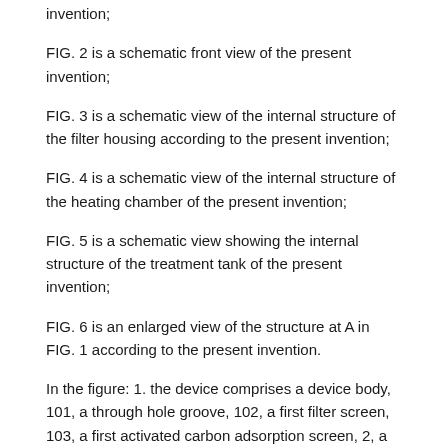invention;
FIG. 2 is a schematic front view of the present invention;
FIG. 3 is a schematic view of the internal structure of the filter housing according to the present invention;
FIG. 4 is a schematic view of the internal structure of the heating chamber of the present invention;
FIG. 5 is a schematic view showing the internal structure of the treatment tank of the present invention;
FIG. 6 is an enlarged view of the structure at A in FIG. 1 according to the present invention.
In the figure: 1. the device comprises a device body, 101, a through hole groove, 102, a first filter screen, 103, a first activated carbon adsorption screen, 2, a first motor, 3, a bevel gear group, 4, a first lead screw, 5, a first moving frame, 6, a fixed frame, 7, a second motor, 8, a first transmission shaft, 9, a clamping table, 10, a third motor, 11, a second transmission shaft, 12, a supporting frame, 13, a second lead screw, 14, a second moving frame, 15, a spraying mechanism, 16, a conveying pipe, 17, a heating